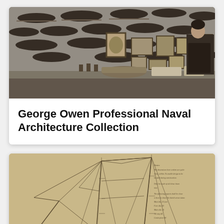[Figure (photo): Black and white photograph of a museum or exhibition room with many ship hull models mounted on the walls and a man standing to the right side. Framed pictures and models are on display tables.]
George Owen Professional Naval Architecture Collection
[Figure (engineering-diagram): Sepia-toned engineering drawing of a sailing vessel (schooner) showing sail plan with masts, rigging lines and handwritten notes in the upper right corner.]